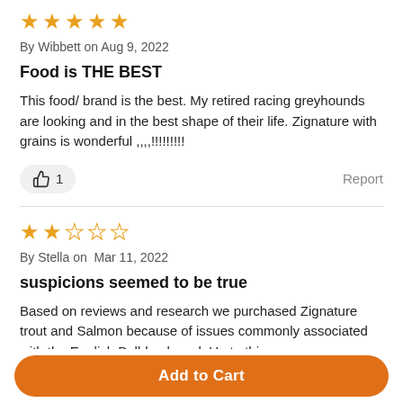[Figure (other): 5 filled orange stars rating]
By Wibbett on Aug 9, 2022
Food is THE BEST
This food/ brand is the best. My retired racing greyhounds are looking and in the best shape of their life. Zignature with grains is wonderful ,,,,!!!!!!!!!
👍 1   Report
[Figure (other): 2 filled orange stars, 3 empty stars rating]
By Stella on  Mar 11, 2022
suspicions seemed to be true
Based on reviews and research we purchased Zignature trout and Salmon because of issues commonly associated with the English Bulldog breed. Up to this
Add to Cart